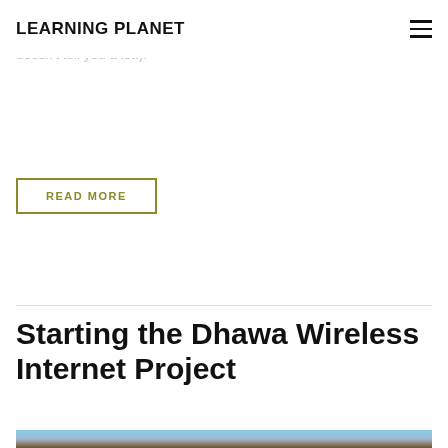LEARNING PLANET
unfortunately consists of grey boxes with the occasional green LED flickering to tell you something is happening (which doesn't tell you a lot!).
READ MORE
Starting the Dhawa Wireless Internet Project
[Figure (photo): Exterior photo of a brick building with a corrugated metal roof against a blue sky with mountains in the background. Trees visible on the left side.]